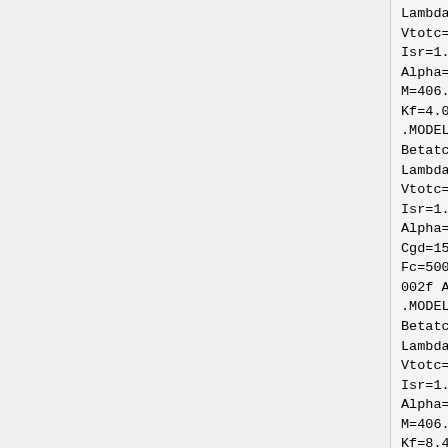Lambda=11m Vto=-5.517
Vtotc=-2.5m Is=205.2f
Isr=1.988p N=1 Nr=2 Xti=3
Alpha=20.98u Vk=123.7 Cgd=5.71p
M=406.9m Pb=1 Fc=500m Cgs=5.07p
Kf=4.023e-002f Af=1)
.MODEL MPF4857 NJF(Beta=6.313m
Betatce=-500m Rd=1 Rs=1
Lambda=9.5m Vto=-3.05
Vtotc=-2.5m Is=205.2f
Isr=1.988p N=1 Nr=2 Xti=3
Alpha=20.98u Vk=123.7
Cgd=15.92p M=406.9m Pb=1
Fc=500m Cgs=14.16p Kf=8.447e-
002f Af=1)
.MODEL MPF4857A NJF(Beta=6.313m
Betatce=-500m Rd=1 Rs=1
Lambda=9.5m Vto=-3.05
Vtotc=-2.5m Is=205.2f
Isr=1.988p N=1 Nr=2 Xti=3
Alpha=20.98u Vk=123.7 Cgd=5.34p
M=406.9m Pb=1 Fc=500m Cgs=4.74p
Kf=8.447e-002f Af=1)
.MODEL MPF4858 NJF(Beta=7.646m
Betatce=-500m Rd=1 Rs=1
Lambda=8m Vto=-2.387
Vtotc=-2.5m Is=205.2f
Isr=1.988p N=1 Nr=2 Xti=3
Alpha=20.98u Vk=123.7
Cgd=15.92p M=406.9m Pb=1
Fc=500m Cgs=14.16p Kf=0.1028f
Af=1)